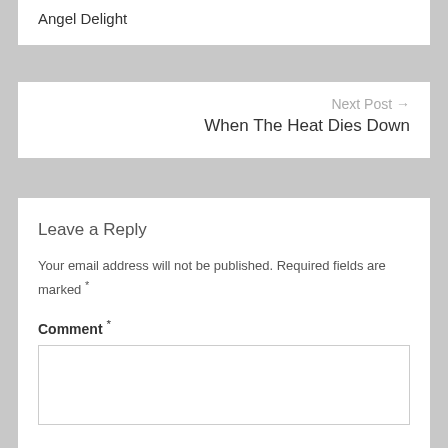Angel Delight
Next Post →
When The Heat Dies Down
Leave a Reply
Your email address will not be published. Required fields are marked *
Comment *